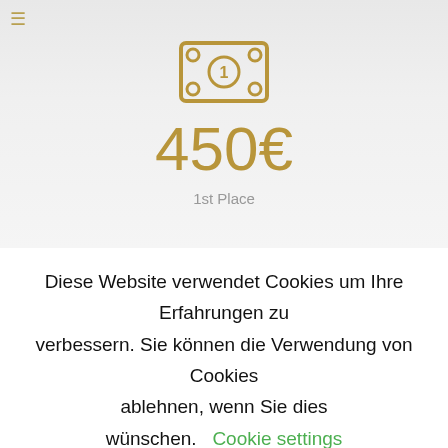[Figure (illustration): Gold banknote/money icon with a circle containing the number 1 in the center]
450€
1st Place
Diese Website verwendet Cookies um Ihre Erfahrungen zu verbessern. Sie können die Verwendung von Cookies ablehnen, wenn Sie dies wünschen. Cookie settings
Akzeptieren